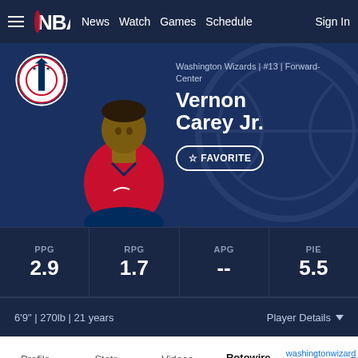☰ NBA | News | Watch | Games | Schedule | Sign In
[Figure (photo): Washington Wizards player profile hero image showing Vernon Carey Jr. in red Wizards jersey with team logo]
Washington Wizards | #13 | Forward-Center
Vernon Carey Jr.
☆ FAVORITE
| PPG | RPG | APG | PIE |
| --- | --- | --- | --- |
| 2.9 | 1.7 | -- | 5.5 |
6'9" | 270lb | 21 years
Player Details ▼
Profile   Stats   Videos   Rotowire   washingtonwizards [external link]